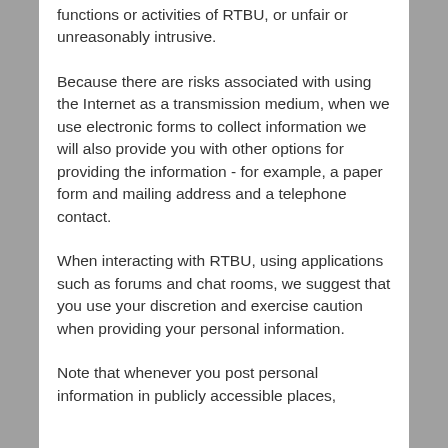functions or activities of RTBU, or unfair or unreasonably intrusive.
Because there are risks associated with using the Internet as a transmission medium, when we use electronic forms to collect information we will also provide you with other options for providing the information - for example, a paper form and mailing address and a telephone contact.
When interacting with RTBU, using applications such as forums and chat rooms, we suggest that you use your discretion and exercise caution when providing your personal information.
Note that whenever you post personal information in publicly accessible places,